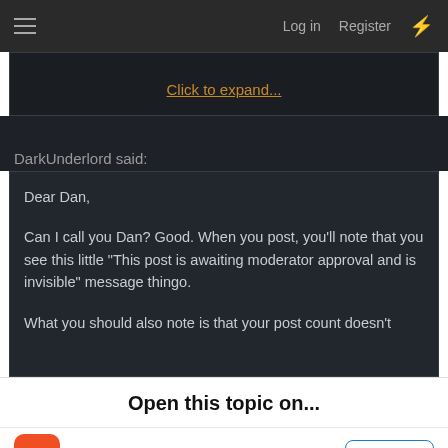Log in  Register
Click to expand...
DarkUnderlord said:
Dear Dan,

Can I call you Dan? Good. When you post, you'll note that you see this little "This post is awaiting moderator approval and is invisible" message thingo.

What you should also note is that your post count doesn't
Open this topic on...
Tapatalk App
Safari App
[Figure (screenshot): Tally advertisement banner: Fast credit card payoff with Download Now button]
OPEN
CONTINUE